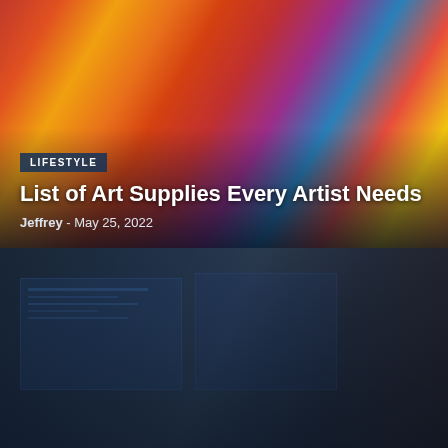[Figure (photo): Colorful art supplies background with warm orange, red, yellow tones]
LIFESTYLE
List of Art Supplies Every Artist Needs
Jeffrey - May 25, 2022
[Figure (photo): Two people looking at computer monitors with code, dark tech office setting]
LIFESTYLE
7 Rules to Live High Quality
Jeffrey - April 6, 2022
Cars